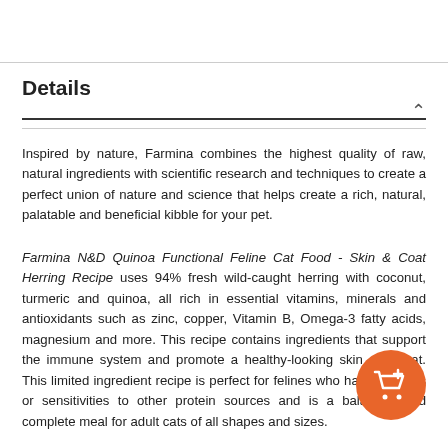Details
Inspired by nature, Farmina combines the highest quality of raw, natural ingredients with scientific research and techniques to create a perfect union of nature and science that helps create a rich, natural, palatable and beneficial kibble for your pet.
Farmina N&D Quinoa Functional Feline Cat Food - Skin & Coat Herring Recipe uses 94% fresh wild-caught herring with coconut, turmeric and quinoa, all rich in essential vitamins, minerals and antioxidants such as zinc, copper, Vitamin B, Omega-3 fatty acids, magnesium and more. This recipe contains ingredients that support the immune system and promote a healthy-looking skin and coat. This limited ingredient recipe is perfect for felines who have allergies or sensitivities to other protein sources and is a balanced and complete meal for adult cats of all shapes and sizes.
[Figure (other): Orange circular cart/add-to-cart button with shopping cart icon and plus symbol]